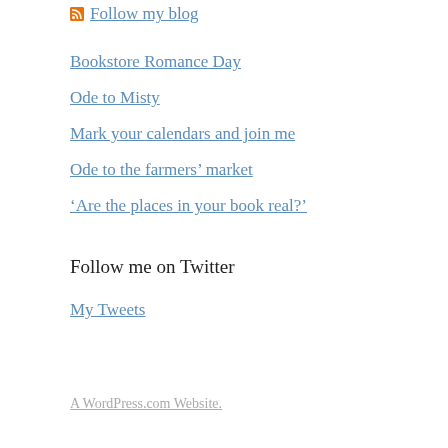Follow my blog
Bookstore Romance Day
Ode to Misty
Mark your calendars and join me
Ode to the farmers' market
‘Are the places in your book real?’
Follow me on Twitter
My Tweets
A WordPress.com Website.